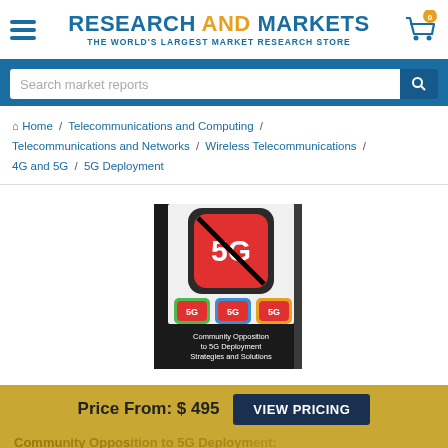RESEARCH AND MARKETS THE WORLD'S LARGEST MARKET RESEARCH STORE
Search market reports
Home / Telecommunications and Computing / Telecommunications and Networks / Wireless Telecommunications / 4G and 5G / 5G Deployment
[Figure (photo): Book cover: Community Opposition to 5G Deployment Strategies and Solutions, showing a 5G prohibited sign (crossed out) and three colored 5G icons]
Price From: $ 495
VIEW PRICING
Community Opposition to 5G Deployment: